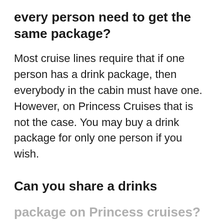every person need to get the same package?
Most cruise lines require that if one person has a drink package, then everybody in the cabin must have one. However, on Princess Cruises that is not the case. You may buy a drink package for only one person if you wish.
Can you share a drinks package on Princess cruises?